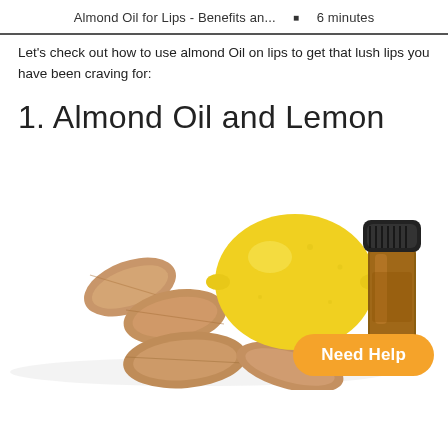Almond Oil for Lips - Benefits an... ▪ 6 minutes
Let's check out how to use almond Oil on lips to get that lush lips you have been craving for:
1. Almond Oil and Lemon
[Figure (photo): Photo of several almonds, a yellow lemon, and a small amber glass essential oil bottle with a black cap, arranged on a white background.]